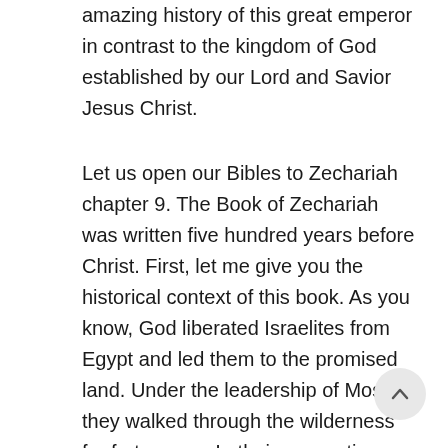amazing history of this great emperor in contrast to the kingdom of God established by our Lord and Savior Jesus Christ.
Let us open our Bibles to Zechariah chapter 9. The Book of Zechariah was written five hundred years before Christ. First, let me give you the historical context of this book. As you know, God liberated Israelites from Egypt and led them to the promised land. Under the leadership of Moses, they walked through the wilderness for forty years. In their new nation, God gave them judges and later kings to rule them. The United Kingdom under Saul, David, and Solomon was divided in 931 BC into the northern kingdom of Israel and southern kingdom of Judah. Sadly, both kingdoms moved away into paganism fr pure Judaism established by Moses. In accordance Mosaic Law, judgment of God came upon the two